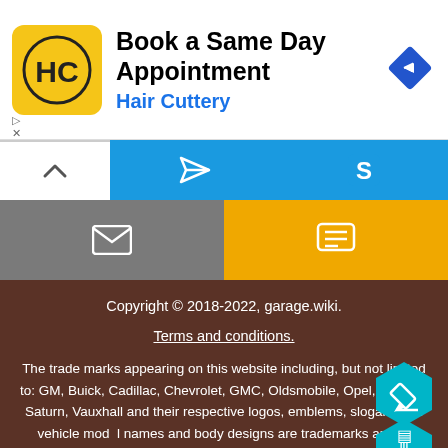[Figure (screenshot): Hair Cuttery advertisement banner with yellow logo, 'Book a Same Day Appointment' headline, 'Hair Cuttery' subheading in blue, and a blue diamond navigation icon on the right.]
[Figure (screenshot): Navigation bar with blue and grey sections showing send/message icons and an 'S' icon]
[Figure (screenshot): Navigation bar second row with grey mail icon section and yellow chat icon section]
Copyright © 2018-2022, garage.wiki.
Terms and conditions.
The trade marks appearing on this website including, but not limited to: GM, Buick, Cadillac, Chevrolet, GMC, Oldsmobile, Opel, Pontiac, Saturn, Vauxhall and their respective logos, emblems, slogans and vehicle model names and body designs are trademarks and/or service marks of General Motors Company, its subsidiaries, affiliates or licensors. This site is intended for reference only. Please contact your local dealer for latest in